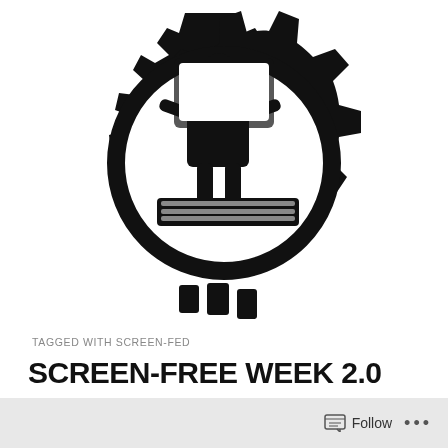[Figure (logo): Black and white logo showing a gear/cog wheel with a person sitting at a computer keyboard inside it]
TAGGED WITH SCREEN-FED
SCREEN-FREE WEEK 2.0
[Figure (illustration): Three thumbnail illustrations showing icons with 'Z' sleep/boredom symbols, depicting various screen-free scenarios]
Follow ...